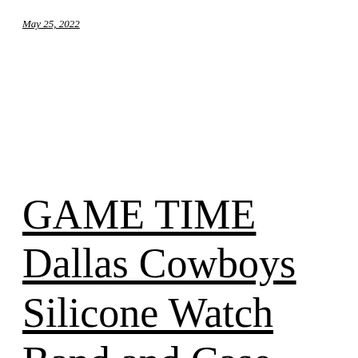May 25, 2022
GAME TIME Dallas Cowboys Silicone Watch Band and Case Cover Combo